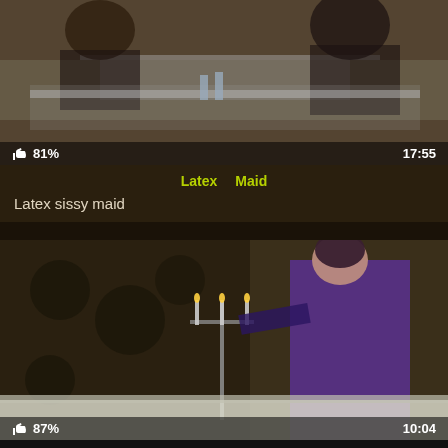[Figure (screenshot): Video thumbnail showing people at a glass table, top portion of a video card]
81%
17:55
Latex  Maid
Latex sissy maid
[Figure (screenshot): Video thumbnail showing a person in a purple latex outfit near a candelabra in a decorated room]
87%
10:04